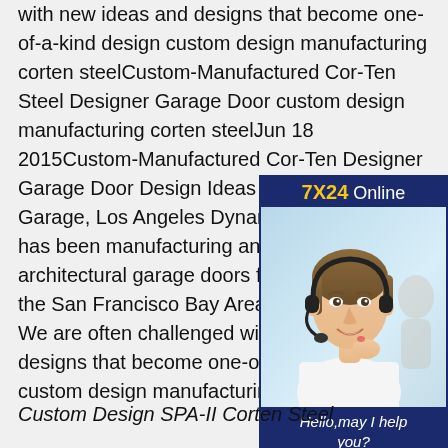with new ideas and designs that become one-of-a-kind design custom design manufacturing corten steelCustom-Manufactured Cor-Ten Steel Designer Garage Door custom design manufacturing corten steelJun 18 2015Custom-Manufactured Cor-Ten Designer Garage Door Design Ideas Contemporary Garage, Los Angeles Dynamic Garage Door has been manufacturing and installing unique architectural garage doors from San Diego to the San Francisco Bay Area for many years. We are often challenged with new ideas and designs that become one-of-a-kind design custom design manufacturing corten steel
[Figure (photo): Advertisement banner with a woman wearing a headset (customer service representative), dark blue background, header reading '7X24 Online', tagline 'Hello, may I help you?' and a yellow button 'Get Latest Price']
Custom Design SPA-II Corten Steel